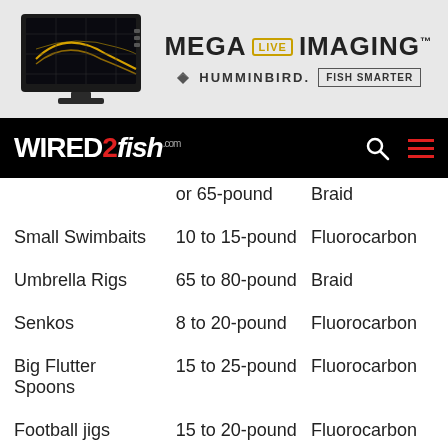[Figure (other): Advertisement banner for Humminbird Mega Live Imaging featuring a fish finder screen displaying underwater sonar imagery, with the text MEGA LIVE IMAGING and Humminbird FISH SMARTER logo.]
[Figure (logo): Wired2fish.com navigation bar logo with search and menu icons on black background.]
| Lure/Technique | Line Weight | Line Type |
| --- | --- | --- |
|  | or 65-pound | Braid |
| Small Swimbaits | 10 to 15-pound | Fluorocarbon |
| Umbrella Rigs | 65 to 80-pound | Braid |
| Senkos | 8 to 20-pound | Fluorocarbon |
| Big Flutter Spoons | 15 to 25-pound | Fluorocarbon |
| Football jigs | 15 to 20-pound | Fluorocarbon |
| Big Plastic Worms | 12 to 20-pound | Fluorocarbon |